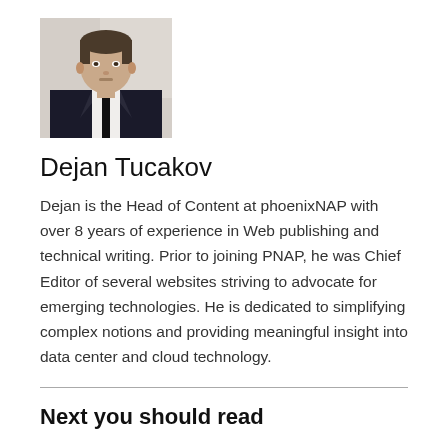[Figure (photo): Headshot photo of Dejan Tucakov, a young man in a dark suit and tie, with short hair and a slight beard, against a light background.]
Dejan Tucakov
Dejan is the Head of Content at phoenixNAP with over 8 years of experience in Web publishing and technical writing. Prior to joining PNAP, he was Chief Editor of several websites striving to advocate for emerging technologies. He is dedicated to simplifying complex notions and providing meaningful insight into data center and cloud technology.
Next you should read